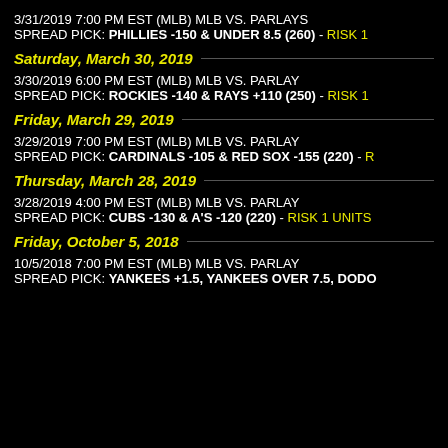3/31/2019 7:00 PM EST (MLB) MLB VS. PARLAYS
SPREAD PICK: PHILLIES -150 & UNDER 8.5 (260) - RISK 1
Saturday, March 30, 2019
3/30/2019 6:00 PM EST (MLB) MLB VS. PARLAY
SPREAD PICK: ROCKIES -140 & RAYS +110 (250) - RISK 1
Friday, March 29, 2019
3/29/2019 7:00 PM EST (MLB) MLB VS. PARLAY
SPREAD PICK: CARDINALS -105 & RED SOX -155 (220) - R
Thursday, March 28, 2019
3/28/2019 4:00 PM EST (MLB) MLB VS. PARLAY
SPREAD PICK: CUBS -130 & A'S -120 (220) - RISK 1 UNITS
Friday, October 5, 2018
10/5/2018 7:00 PM EST (MLB) MLB VS. PARLAY
SPREAD PICK: YANKEES +1.5, YANKEES OVER 7.5, DODO